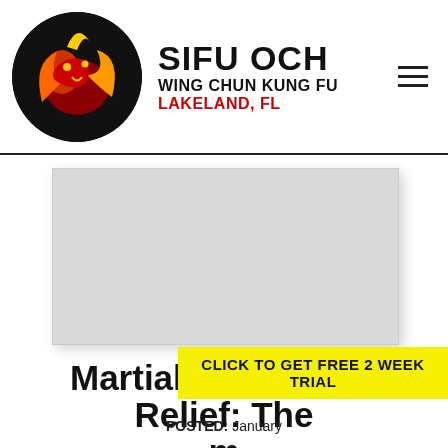SIFU OCH WING CHUN KUNG FU Lakeland, FL
[Figure (photo): Hero image placeholder - light gray rectangle representing a martial arts photo]
Martial Arts Stress Relief: The m...
CLICK TO GET FREE 2 WEEK TRIAL
POSTED: January...